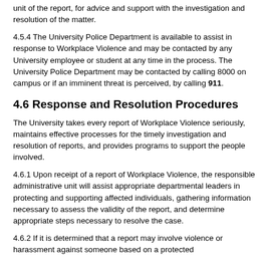unit of the report, for advice and support with the investigation and resolution of the matter.
4.5.4 The University Police Department is available to assist in response to Workplace Violence and may be contacted by any University employee or student at any time in the process. The University Police Department may be contacted by calling 8000 on campus or if an imminent threat is perceived, by calling 911.
4.6 Response and Resolution Procedures
The University takes every report of Workplace Violence seriously, maintains effective processes for the timely investigation and resolution of reports, and provides programs to support the people involved.
4.6.1 Upon receipt of a report of Workplace Violence, the responsible administrative unit will assist appropriate departmental leaders in protecting and supporting affected individuals, gathering information necessary to assess the validity of the report, and determine appropriate steps necessary to resolve the case.
4.6.2 If it is determined that a report may involve violence or harassment against someone based on a protected